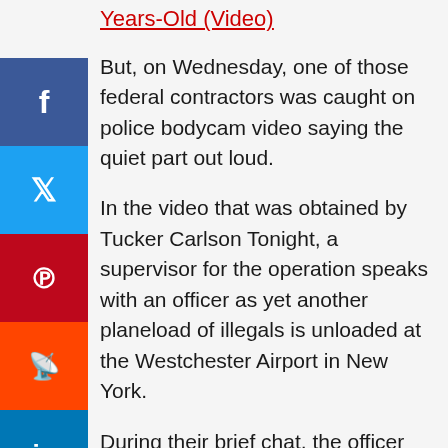Years-Old (Video)
But, on Wednesday, one of those federal contractors was caught on police bodycam video saying the quiet part out loud.
In the video that was obtained by Tucker Carlson Tonight, a supervisor for the operation speaks with an officer as yet another planeload of illegals is unloaded at the Westchester Airport in New York.
During their brief chat, the officer presses the federal contractor about what's actually happening here, questioning why they are working so hard to keep these flights hidden.
“What’s the big secret? Everyone knows it’s happening,” the officer points out about the